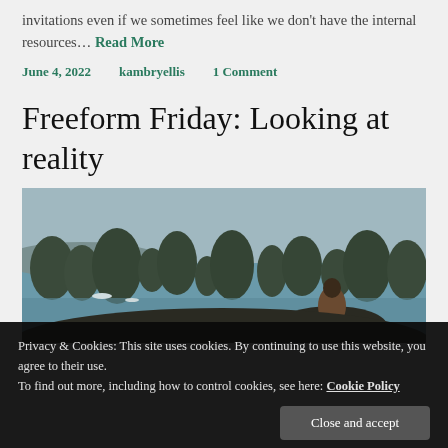invitations even if we sometimes feel like we don't have the internal resources… Read More
June 4, 2022   kambryellis   1 Comment
Freeform Friday: Looking at reality
[Figure (photo): A person sitting on a rocky cliff overlooking Ha Long Bay style seascape with karst islands and water]
Privacy & Cookies: This site uses cookies. By continuing to use this website, you agree to their use.
To find out more, including how to control cookies, see here: Cookie Policy
Close and accept
sense of encouragement is really important right now, as I